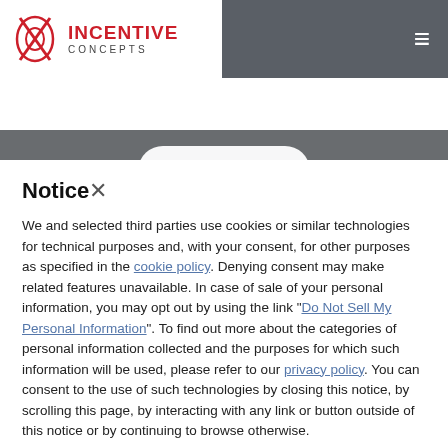INCENTIVE CONCEPTS
Access Preferred Pricing
[Figure (screenshot): Blurred dark background image behind modal dialog]
Notice
We and selected third parties use cookies or similar technologies for technical purposes and, with your consent, for other purposes as specified in the cookie policy. Denying consent may make related features unavailable. In case of sale of your personal information, you may opt out by using the link "Do Not Sell My Personal Information". To find out more about the categories of personal information collected and the purposes for which such information will be used, please refer to our privacy policy. You can consent to the use of such technologies by closing this notice, by scrolling this page, by interacting with any link or button outside of this notice or by continuing to browse otherwise.